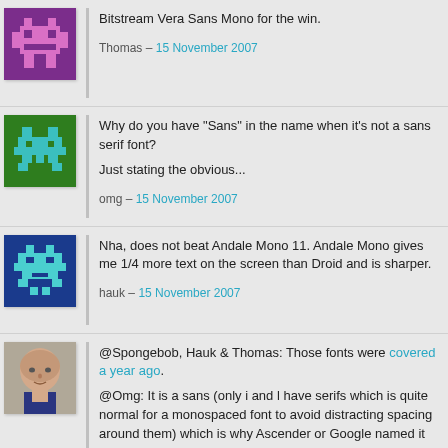[Figure (illustration): Pixel art avatar on purple background, robot/character shape]
Bitstream Vera Sans Mono for the win.
Thomas — 15 November 2007
[Figure (illustration): Pixel art avatar on green background, space invader style character]
Why do you have "Sans" in the name when it's not a sans serif font?
Just stating the obvious...
omg — 15 November 2007
[Figure (illustration): Pixel art avatar on dark blue background, space invader style character in cyan]
Nha, does not beat Andale Mono 11. Andale Mono gives me 1/4 more text on the screen than Droid and is sharper.
hauk — 15 November 2007
[Figure (photo): Photo of a man (Damien Guard), bald, wearing dark shirt, against a neutral background]
@Spongebob, Hauk & Thomas: Those fonts were covered a year ago.
@Omg: It is a sans (only i and l have serifs which is quite normal for a monospaced font to avoid distracting spacing around them) which is why Ascender or Google named it as such - I did not name or create this font and am just presenting it.
Damien Guard — 15 November 2007